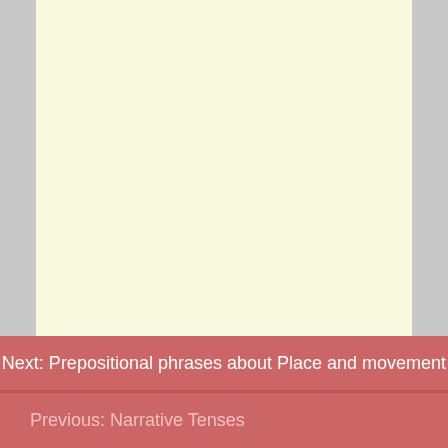Next: Prepositional phrases about Place and movement
Previous: Narrative Tenses